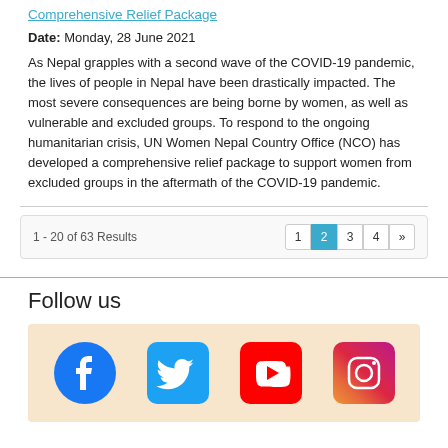Comprehensive Relief Package
Date: Monday, 28 June 2021
As Nepal grapples with a second wave of the COVID-19 pandemic, the lives of people in Nepal have been drastically impacted. The most severe consequences are being borne by women, as well as vulnerable and excluded groups. To respond to the ongoing humanitarian crisis, UN Women Nepal Country Office (NCO) has developed a comprehensive relief package to support women from excluded groups in the aftermath of the COVID-19 pandemic.
1 - 20 of 63 Results
Follow us
[Figure (infographic): Social media icons: Facebook, Twitter, YouTube, Instagram on a peach/beige background]